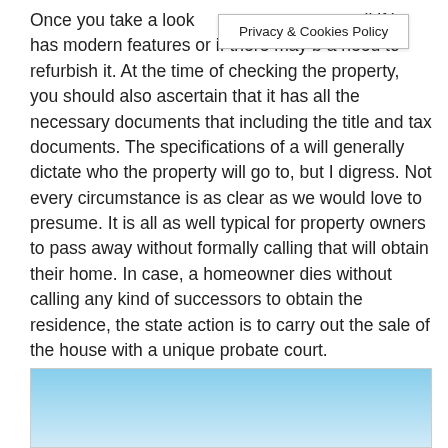Once you take a look an tell if it has modern features or if there may b a need to refurbish it. At the time of checking the property, you should also ascertain that it has all the necessary documents that including the title and tax documents. The specifications of a will generally dictate who the property will go to, but I digress. Not every circumstance is as clear as we would love to presume. It is all as well typical for property owners to pass away without formally calling that will obtain their home. In case, a homeowner dies without calling any kind of successors to obtain the residence, the state action is to carry out the sale of the house with a unique probate court.
[Figure (photo): Partial image visible at the bottom of the page showing a light blue sky gradient, cropped.]